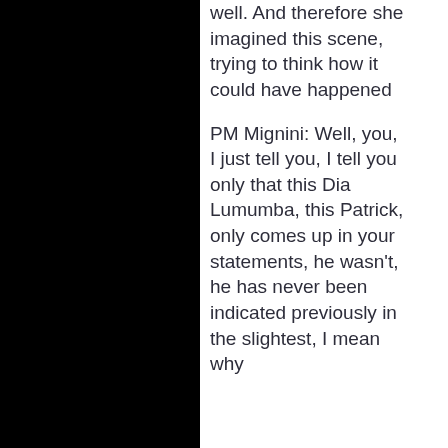well. And therefore she imagined this scene, trying to think how it could have happened
PM Mignini: Well, you, I just tell you, I tell you only that this Dia Lumumba, this Patrick, only comes up in your statements, he wasn't, he has never been indicated previously in the slightest, I mean why